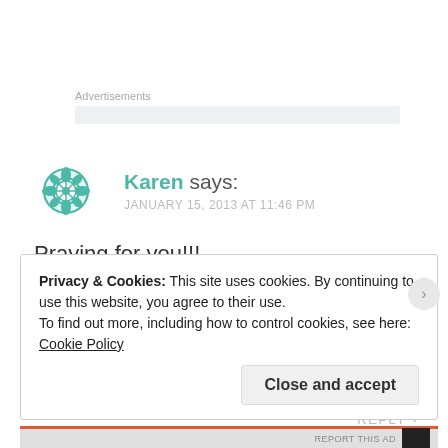Advertisements
Karen says:
JANUARY 15, 2013 AT 11:46 PM
Praying for you!!!
REPLY
Privacy & Cookies: This site uses cookies. By continuing to use this website, you agree to their use.
To find out more, including how to control cookies, see here: Cookie Policy
Close and accept